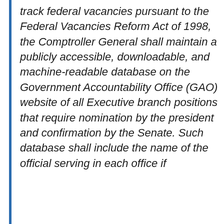track federal vacancies pursuant to the Federal Vacancies Reform Act of 1998, the Comptroller General shall maintain a publicly accessible, downloadable, and machine-readable database on the Government Accountability Office (GAO) website of all Executive branch positions that require nomination by the president and confirmation by the Senate. Such database shall include the name of the official serving in each office if